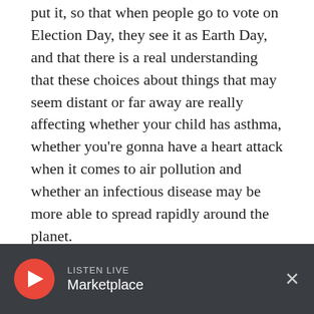put it, so that when people go to vote on Election Day, they see it as Earth Day, and that there is a real understanding that these choices about things that may seem distant or far away are really affecting whether your child has asthma, whether you're gonna have a heart attack when it comes to air pollution and whether an infectious disease may be more able to spread rapidly around the planet.
This segment aired on April 22, 2020.
Novel Coronavirus
LISTEN LIVE
Marketplace